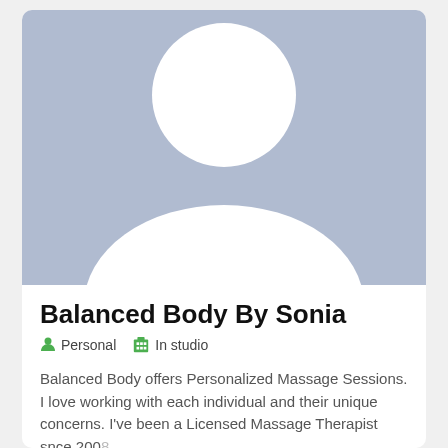[Figure (illustration): Default avatar placeholder silhouette — white head (circle) and body (rounded torso shape) on a blue-grey background]
Balanced Body By Sonia
Personal   In studio
Balanced Body offers Personalized Massage Sessions. I love working with each individual and their unique concerns. I've been a Licensed Massage Therapist snce 2008
Albuquerque, NM     7147.94 miles away